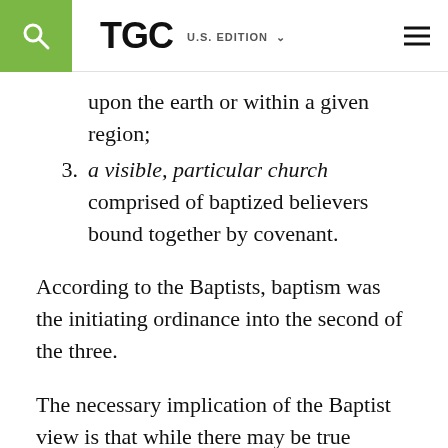TGC U.S. EDITION
upon the earth or within a given region;
3. a visible, particular church comprised of baptized believers bound together by covenant.
According to the Baptists, baptism was the initiating ordinance into the second of the three.
The necessary implication of the Baptist view is that while there may be true paedobaptist saints, there are no true paedobaptist churches.
2. The nature of baptism as